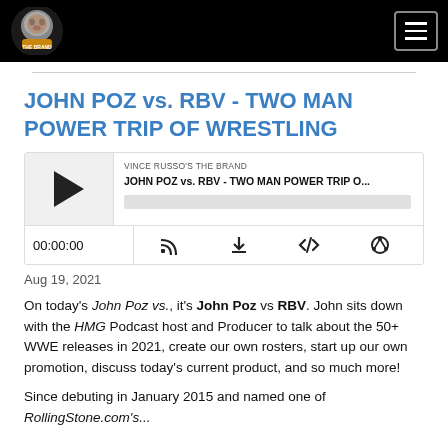Vince Russo's The Brand — navigation header
JOHN POZ vs. RBV - TWO MAN POWER TRIP OF WRESTLING
[Figure (other): Podcast player widget showing episode 'JOHN POZ vs. RBV - TWO MAN POWER TRIP O...' from Vince Russo's The Brand, with play button, progress bar, timestamp 00:00:00, and control icons for RSS, download, embed, and sharing.]
Aug 19, 2021
On today's John Poz vs., it's John Poz vs RBV. John sits down with the HMG Podcast host and Producer to talk about the 50+ WWE releases in 2021, create our own rosters, start up our own promotion, discuss today's current product, and so much more!
Since debuting in January 2015 and named one of RollingStone.com's...